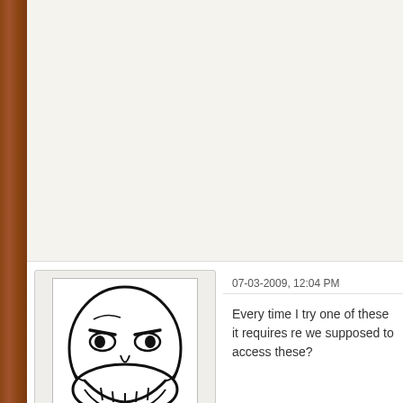[Figure (illustration): Troll face meme illustration - black and white cartoon face with exaggerated grin]
forum troll
Professional
Posts: 621
Threads: 26
07-03-2009, 12:04 PM
Every time I try one of these it requires re we supposed to access these?